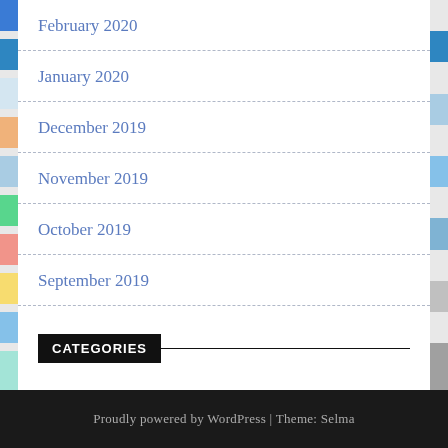February 2020
January 2020
December 2019
November 2019
October 2019
September 2019
CATEGORIES
Auto Services
Uncategorised
Proudly powered by WordPress | Theme: Selma